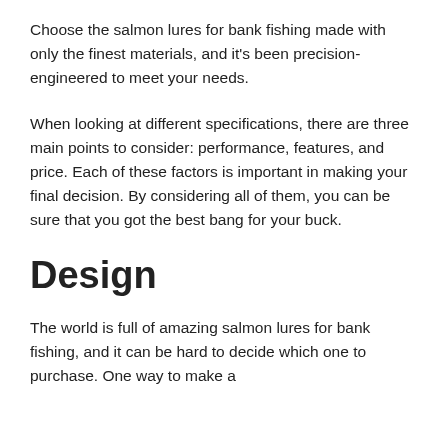Choose the salmon lures for bank fishing made with only the finest materials, and it’s been precision-engineered to meet your needs.
When looking at different specifications, there are three main points to consider: performance, features, and price. Each of these factors is important in making your final decision. By considering all of them, you can be sure that you got the best bang for your buck.
Design
The world is full of amazing salmon lures for bank fishing, and it can be hard to decide which one to purchase. One way to make a